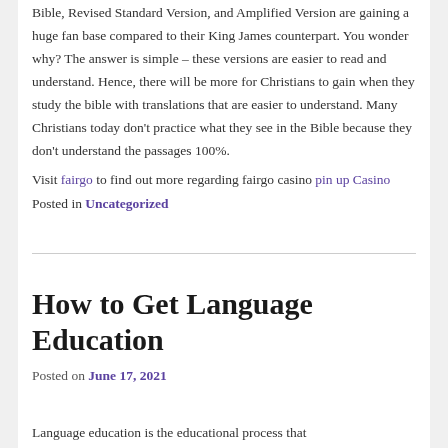Bible, Revised Standard Version, and Amplified Version are gaining a huge fan base compared to their King James counterpart. You wonder why? The answer is simple – these versions are easier to read and understand. Hence, there will be more for Christians to gain when they study the bible with translations that are easier to understand. Many Christians today don't practice what they see in the Bible because they don't understand the passages 100%.
Visit fairgo to find out more regarding fairgo casino pin up Casino
Posted in Uncategorized
How to Get Language Education
Posted on June 17, 2021
Language education is the educational process that